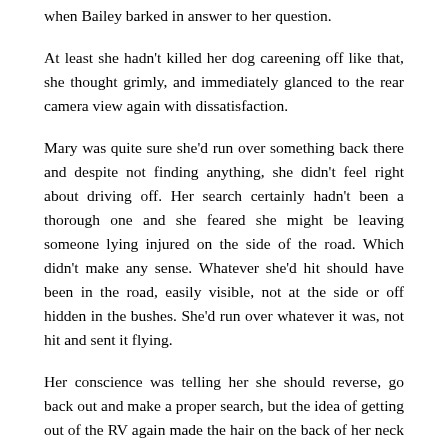when Bailey barked in answer to her question.
At least she hadn't killed her dog careening off like that, she thought grimly, and immediately glanced to the rear camera view again with dissatisfaction.
Mary was quite sure she'd run over something back there and despite not finding anything, she didn't feel right about driving off. Her search certainly hadn't been a thorough one and she feared she might be leaving someone lying injured on the side of the road. Which didn't make any sense. Whatever she'd hit should have been in the road, easily visible, not at the side or off hidden in the bushes. She'd run over whatever it was, not hit and sent it flying.
Her conscience was telling her she should reverse, go back out and make a proper search, but the idea of getting out of the RV again made the hair on the back of her neck stand on end. Something had spooked Bailey, and yes all right, she'd been spooked too, she acknowledged with a grimace.
Perhaps she could just call the police and have them send someone out to search the area properly. Although, they might